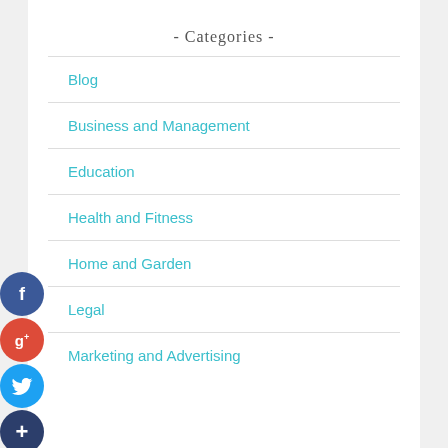- Categories -
Blog
Business and Management
Education
Health and Fitness
Home and Garden
Legal
Marketing and Advertising